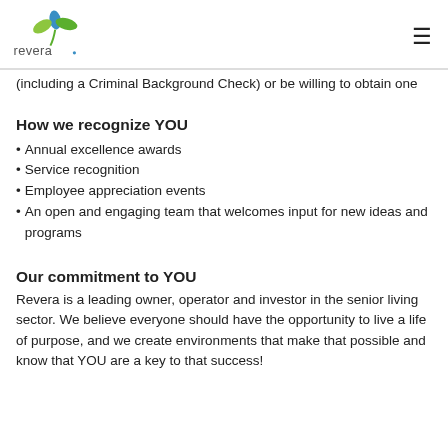[Figure (logo): Revera logo with stylized green and blue leaf/flower icon above the word 'revera' in grey text]
(including a Criminal Background Check) or be willing to obtain one
How we recognize YOU
Annual excellence awards
Service recognition
Employee appreciation events
An open and engaging team that welcomes input for new ideas and programs
Our commitment to YOU
Revera is a leading owner, operator and investor in the senior living sector. We believe everyone should have the opportunity to live a life of purpose, and we create environments that make that possible and know that YOU are a key to that success!